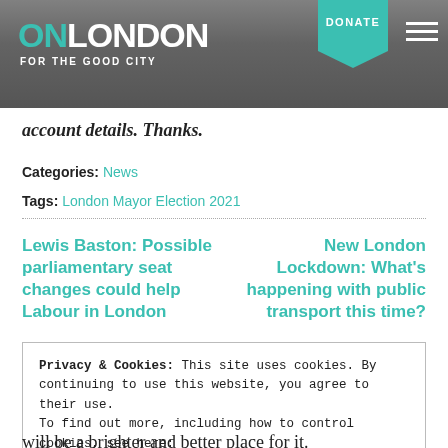[Figure (logo): OnLondon website header with logo reading ON LONDON FOR THE GOOD CITY, teal DONATE button, and hamburger menu on dark city skyline background]
account details. Thanks.
Categories: News
Tags: London Mayor Election 2021
Lewis Baston: Possible parliamentary seat changes could help Labour in London
New London Lockdown: What's happening with public transport this time?
Privacy & Cookies: This site uses cookies. By continuing to use this website, you agree to their use.
To find out more, including how to control cookies, see here:
Cookie Policy
Close and accept
will be a brighter and better place for it.